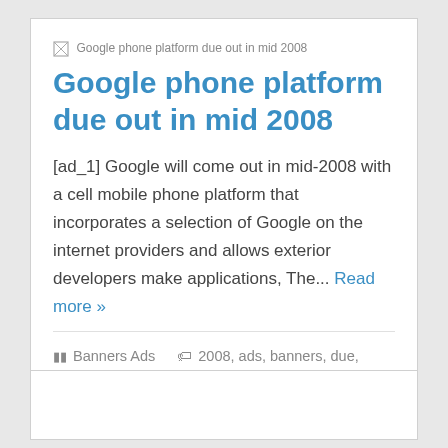[Figure (other): Broken/placeholder image thumbnail with alt text: Google phone platform due out in mid 2008]
Google phone platform due out in mid 2008
[ad_1] Google will come out in mid-2008 with a cell mobile phone platform that incorporates a selection of Google on the internet providers and allows exterior developers make applications, The... Read more »
Banners Ads   2008, ads, banners, due, google, mid, out, phone, platform